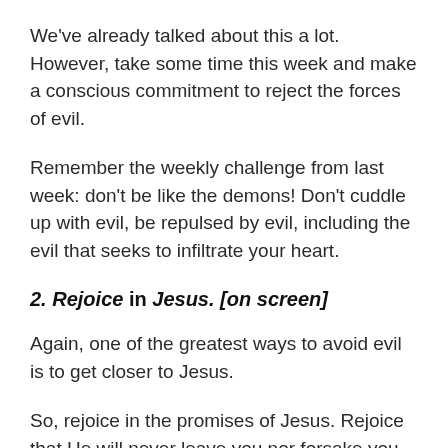We've already talked about this a lot. However, take some time this week and make a conscious commitment to reject the forces of evil.
Remember the weekly challenge from last week: don't be like the demons! Don't cuddle up with evil, be repulsed by evil, including the evil that seeks to infiltrate your heart.
2. Rejoice in Jesus. [on screen]
Again, one of the greatest ways to avoid evil is to get closer to Jesus.
So, rejoice in the promises of Jesus. Rejoice that He will never leave you nor forsake you. Rejoice that He has a home in Heaven for you. Rejoice that He